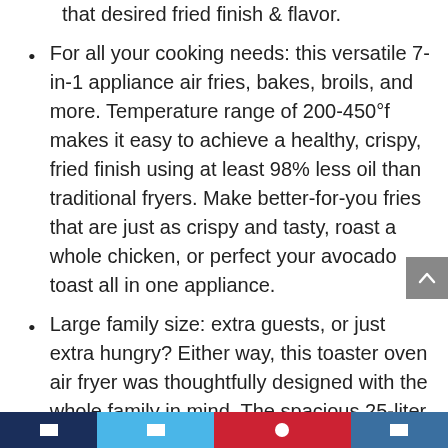that desired fried finish & flavor.
For all your cooking needs: this versatile 7-in-1 appliance air fries, bakes, broils, and more. Temperature range of 200-450°f makes it easy to achieve a healthy, crispy, fried finish using at least 98% less oil than traditional fryers. Make better-for-you fries that are just as crispy and tasty, roast a whole chicken, or perfect your avocado toast all in one appliance.
Large family size: extra guests, or just extra hungry? Either way, this toaster oven air fryer was thoughtfully designed with the whole family in mind. The spacious 25-liter capacity fits 6 slices of toast or roasts a 5.5lb chicken so you can make plenty of food for the entire family – without